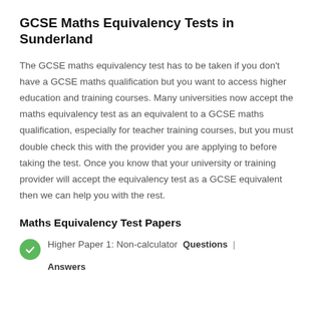GCSE Maths Equivalency Tests in Sunderland
The GCSE maths equivalency test has to be taken if you don't have a GCSE maths qualification but you want to access higher education and training courses. Many universities now accept the maths equivalency test as an equivalent to a GCSE maths qualification, especially for teacher training courses, but you must double check this with the provider you are applying to before taking the test. Once you know that your university or training provider will accept the equivalency test as a GCSE equivalent then we can help you with the rest.
Maths Equivalency Test Papers
Higher Paper 1: Non-calculator  Questions  |  Answers